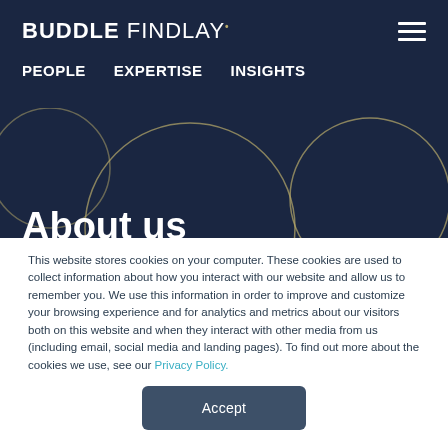BUDDLE FINDLAY
PEOPLE   EXPERTISE   INSIGHTS
About us
Buddle Findlay's experienced partnership brings
This website stores cookies on your computer. These cookies are used to collect information about how you interact with our website and allow us to remember you. We use this information in order to improve and customize your browsing experience and for analytics and metrics about our visitors both on this website and when they interact with other media from us (including email, social media and landing pages). To find out more about the cookies we use, see our Privacy Policy.